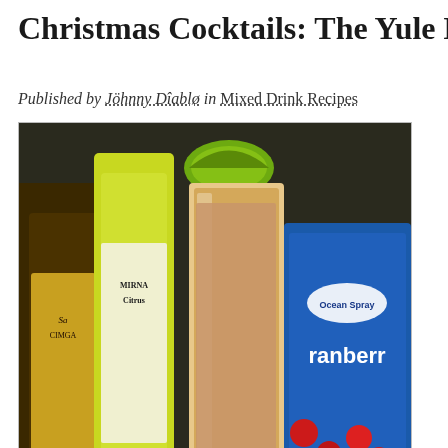Christmas Cocktails: The Yule Mu
Published by Jöhnny Dîablø in Mixed Drink Recipes
[Figure (photo): A tall glass of yellowish-brown cocktail garnished with a lime wedge on top, surrounded by a bottle of Smirnoff Citrus vodka, a bottle of Sauza tequila, and an Ocean Spray cranberry juice box, all arranged on a dark surface.]
As the days get longer, and Christmas draws near, it's time for to renew my focus on holiday drinks. Today's entry is th Yule Mule. Based on the traditional mule formula of gir beer, vodka, and lime juice, the Yule mule also introduce